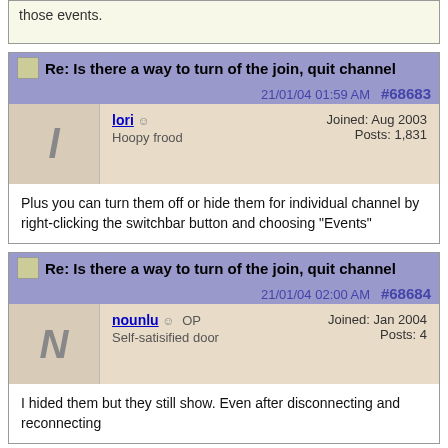in mIRC Options > IRC > Events... (button) you can hide those events.
Re: Is there a way to turn of the join, quit channel 21/01/04 01:59 AM #68683
lori | Offline | Hoopy frood | Joined: Aug 2003 | Posts: 1,831
Plus you can turn them off or hide them for individual channel by right-clicking the switchbar button and choosing "Events"
Re: Is there a way to turn of the join, quit channel 21/01/04 02:00 AM #68684
nounlu | OP | Offline | Self-satisified door | Joined: Jan 2004 | Posts: 4
I hided them but they still show. Even after disconnecting and reconnecting
Re: Is there a way to turn of the join, quit channel 21/01/04 02:05 AM #68685
nounlu | OP | Joined: Jan 2004